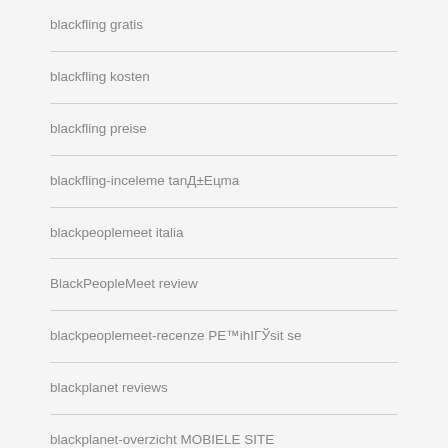blackfling gratis
blackfling kosten
blackfling preise
blackfling-inceleme tanД±Eцma
blackpeoplemeet italia
BlackPeopleMeet review
blackpeoplemeet-recenze РЕ™ihIГЎsit se
blackplanet reviews
blackplanet-overzicht MOBIELE SITE